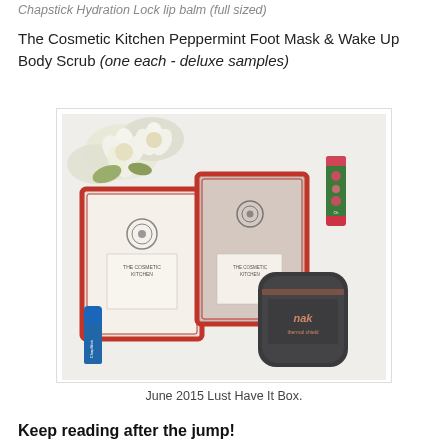Chapstick Hydration Lock lip balm (full sized)
The Cosmetic Kitchen Peppermint Foot Mask & Wake Up Body Scrub (one each - deluxe samples)
[Figure (photo): Flatlay photo showing June 2015 Lust Have It Box contents: two red-bordered Cosmetic Kitchen packages (foot mask and body scrub), a Chapstick lip balm with blue cap, a floral-decorated lip balm tube, a dark grey Nak thermal shield spray can, and white flowers in background on white surface.]
June 2015 Lust Have It Box.
Keep reading after the jump!